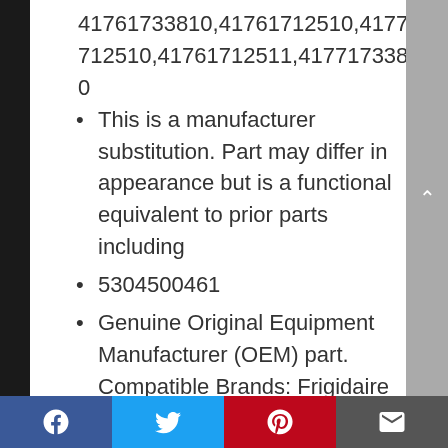41761733810,41761712510,41771712510,41761712511,41771733810
This is a manufacturer substitution. Part may differ in appearance but is a functional equivalent to prior parts including
5304500461
Genuine Original Equipment Manufacturer (OEM) part. Compatible Brands: Frigidaire
This washer water-level sensor (part number 5304504885) is for laundry centers
Facebook | Twitter | Pinterest | Email